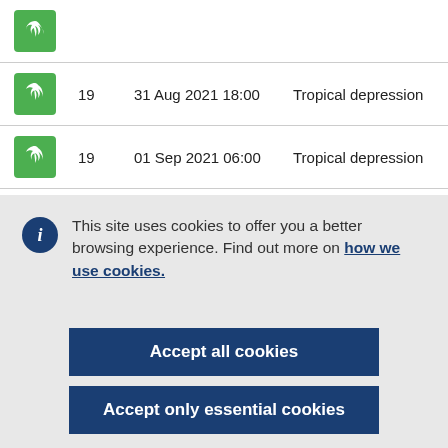|  | Number | Date/Time | Type |
| --- | --- | --- | --- |
| [hurricane icon] | 19 | 31 Aug 2021 18:00 | Tropical depression |
| [hurricane icon] | 19 | 01 Sep 2021 06:00 | Tropical depression |
| [hurricane icon] | 19 | 01 Sep 2021 18:00 | Tropical depression |
This site uses cookies to offer you a better browsing experience. Find out more on how we use cookies.
Accept all cookies
Accept only essential cookies